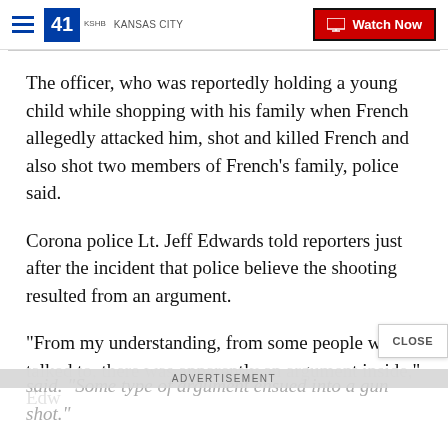41 KSHB KANSAS CITY | Watch Now
The officer, who was reportedly holding a young child while shopping with his family when French allegedly attacked him, shot and killed French and also shot two members of French's family, police said.
Corona police Lt. Jeff Edwards told reporters just after the incident that police believe the shooting resulted from an argument.
"From my understanding, from some people we talked to, there was apparently an argument inside," Edw... said. "Some type of argument ensued into a gun shot."